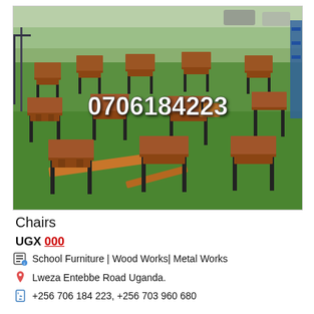[Figure (photo): Outdoor display of wooden school chairs with metal frames arranged on a green lawn, with a phone number '0706184223' overlaid in white text on the photo.]
Chairs
UGX 000
School Furniture | Wood Works| Metal Works
Lweza Entebbe Road Uganda.
+256 706 184 223, +256 703 960 680